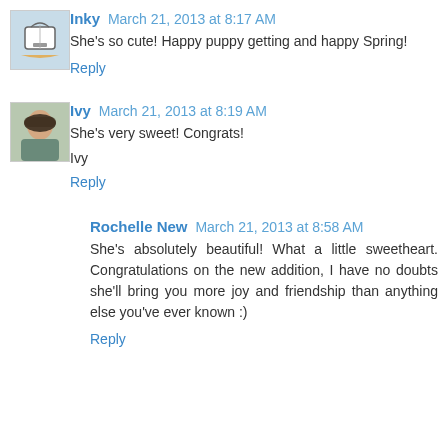[Figure (illustration): Avatar icon for user Inky, small square image with a drawing of a handbag/purse on a light blue background]
Inky March 21, 2013 at 8:17 AM
She's so cute! Happy puppy getting and happy Spring!
Reply
[Figure (photo): Avatar photo for user Ivy, woman wearing a headscarf]
Ivy March 21, 2013 at 8:19 AM
She's very sweet! Congrats!
Ivy
Reply
Rochelle New March 21, 2013 at 8:58 AM
She's absolutely beautiful! What a little sweetheart. Congratulations on the new addition, I have no doubts she'll bring you more joy and friendship than anything else you've ever known :)
Reply